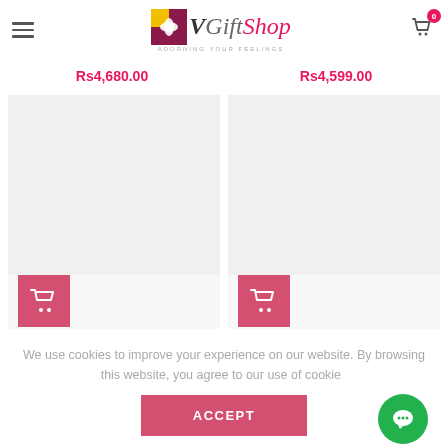VGiftShop — ADORNING YOUR FEELINGS
Rs4,680.00
Rs4,599.00
[Figure (screenshot): Shopping cart button (pink/red square with cart icon) for Exclusive Eid Gift Basket product]
Exclusive Eid Gift Basket
[Figure (screenshot): Shopping cart button (pink/red square with cart icon) for Charming Gift Hampers product]
Charming Gift Hampers
We use cookies to improve your experience on our website. By browsing this website, you agree to our use of cookies
ACCEPT